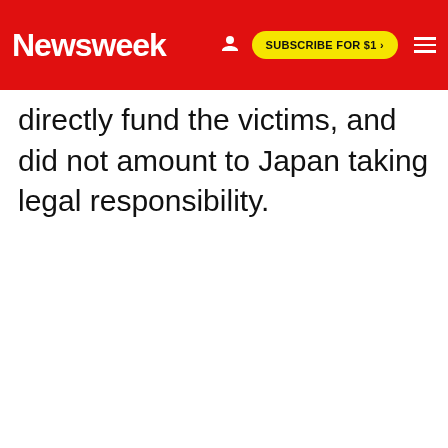Newsweek | SUBSCRIBE FOR $1 >
directly fund the victims, and did not amount to Japan taking legal responsibility.